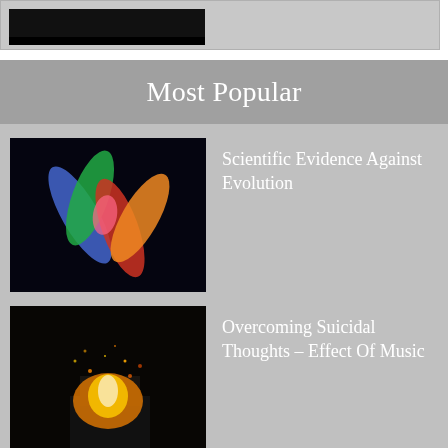[Figure (photo): Dark/black image at top, partial view at top of page]
Most Popular
[Figure (photo): Colorful microscope image of chromosomes or DNA strands on black background — blue, green, red, orange colors]
Scientific Evidence Against Evolution
[Figure (photo): Fire and sparks burning at night, dramatic image of a burning structure]
Overcoming Suicidal Thoughts – Effect Of Music
[Figure (photo): A white bird (seagull) in flight against a blue sky]
Run John Run (John Bunyan)
[Figure (photo): Partial image of a person's face — Peter Pollock cricket article thumbnail]
Peter Pollock – Cricket